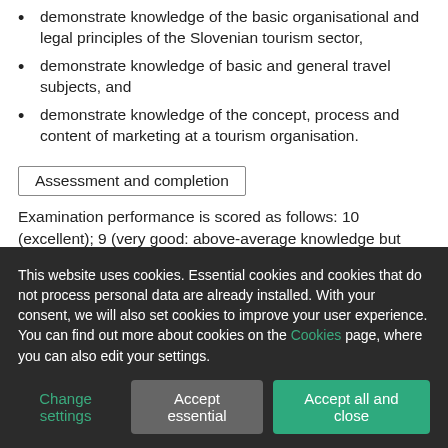demonstrate knowledge of the basic organisational and legal principles of the Slovenian tourism sector,
demonstrate knowledge of basic and general travel subjects, and
demonstrate knowledge of the concept, process and content of marketing at a tourism organisation.
Assessment and completion
Examination performance is scored as follows: 10 (excellent); 9 (very good: above-average knowledge but with some mistakes); 8 (very good: solid results); 7 (good); 6 (adequate: knowledge satisfies minimum criteria); 5–1 (inadequate). In order to pass an examination, a candidate must achieve a grade between adequate (6) and excellent (10).
Progression
This website uses cookies. Essential cookies and cookies that do not process personal data are already installed. With your consent, we will also set cookies to improve your user experience. You can find out more about cookies on the Cookies page, where you can also edit your settings.